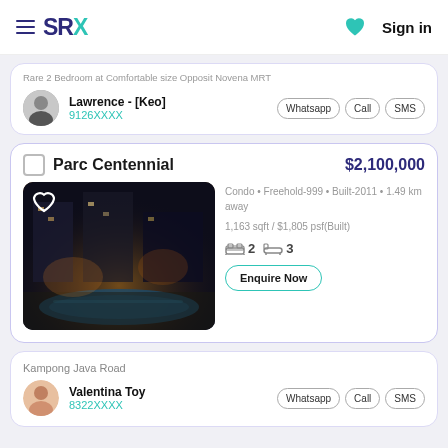SRX  Sign in
Rare 2 Bedroom at Comfortable size Opposit Novena MRT
Lawrence - [Keo]
9126XXXX
Parc Centennial
$2,100,000
[Figure (photo): Night-time photo of Parc Centennial condo showing pool area with dark lighting]
Condo • Freehold-999 • Built-2011 • 1.49 km away
1,163 sqft / $1,805 psf(Built)
2 bedrooms, 3 bathrooms
Enquire Now
Kampong Java Road
Valentina Toy
8322XXXX